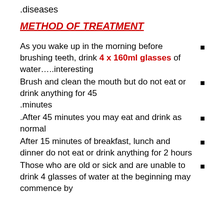.diseases
METHOD OF TREATMENT
As you wake up in the morning before brushing teeth, drink 4 x 160ml glasses of water…..interesting
Brush and clean the mouth but do not eat or drink anything for 45 .minutes
.After 45 minutes you may eat and drink as normal
After 15 minutes of breakfast, lunch and dinner do not eat or drink anything for 2 hours
Those who are old or sick and are unable to drink 4 glasses of water at the beginning may commence by